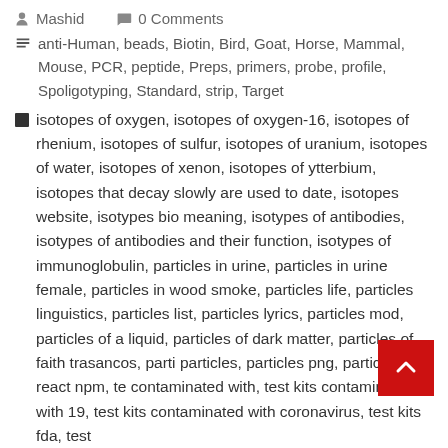Mashid   0 Comments
anti-Human, beads, Biotin, Bird, Goat, Horse, Mammal, Mouse, PCR, peptide, Preps, primers, probe, profile, Spoligotyping, Standard, strip, Target
isotopes of oxygen, isotopes of oxygen-16, isotopes of rhenium, isotopes of sulfur, isotopes of uranium, isotopes of water, isotopes of xenon, isotopes of ytterbium, isotopes that decay slowly are used to date, isotopes website, isotypes bio meaning, isotypes of antibodies, isotypes of antibodies and their function, isotypes of immunoglobulin, particles in urine, particles in urine female, particles in wood smoke, particles life, particles linguistics, particles list, particles lyrics, particles mod, particles of a liquid, particles of dark matter, particles of faith trasancos, particles, particles png, particles react npm, te contaminated with, test kits contaminated with 19, test kits contaminated with coronavirus, test kits fda, test